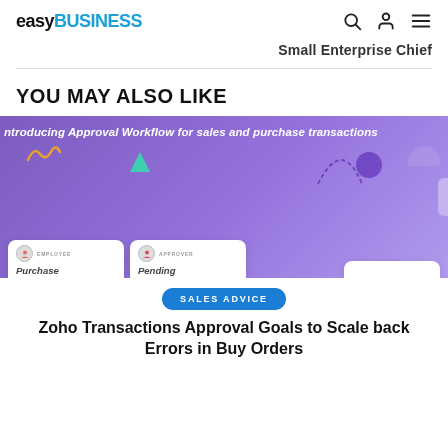easyBUSINESS
Small Enterprise Chief
YOU MAY ALSO LIKE
[Figure (screenshot): Purple banner with text 'Introducing Approval Workflow for sales and purchase transactions' and UI mockup showing Employee and Approver cards with Purchase and Pending labels]
SALES ADVICE
Zoho Transactions Approval Goals to Scale back Errors in Buy Orders